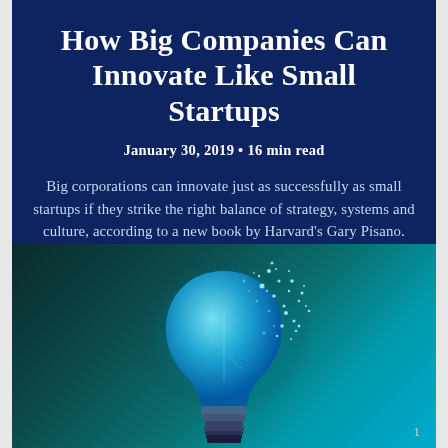How Big Companies Can Innovate Like Small Startups
January 30, 2019 • 16 min read
Big corporations can innovate just as successfully as small startups if they strike the right balance of strategy, systems and culture, according to a new book by Harvard's Gary Pisano.
[Figure (photo): A glowing light bulb dissolving into blue particles against a dark teal background, representing innovation and digital transformation.]